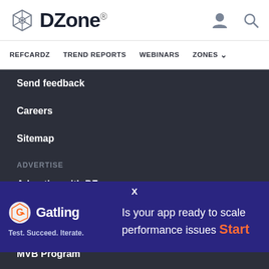DZone.
REFCARDZ   TREND REPORTS   WEBINARS   ZONES
Send feedback
Careers
Sitemap
ADVERTISE
Advertise with DZone
CONTRIBUTE ON DZONE
Article Submission Guidelines
MVB Program
Be
Vi
LEGAL
[Figure (screenshot): Gatling advertisement banner: orange Gatling logo with shield icon and tagline 'Test. Succeed. Iterate.' on the left, text 'Is your app ready to scale performance issues Start' on the right with 'Start' in orange, on a dark blue background. Close button X at top center.]